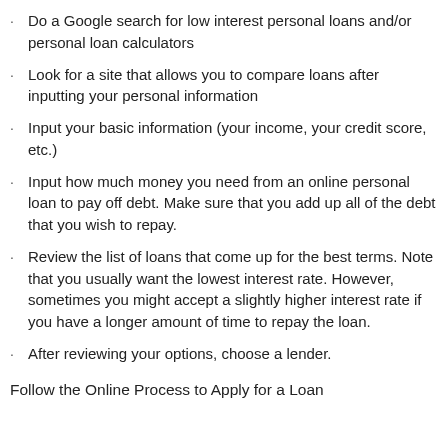Do a Google search for low interest personal loans and/or personal loan calculators
Look for a site that allows you to compare loans after inputting your personal information
Input your basic information (your income, your credit score, etc.)
Input how much money you need from an online personal loan to pay off debt. Make sure that you add up all of the debt that you wish to repay.
Review the list of loans that come up for the best terms. Note that you usually want the lowest interest rate. However, sometimes you might accept a slightly higher interest rate if you have a longer amount of time to repay the loan.
After reviewing your options, choose a lender.
Follow the Online Process to Apply for a Loan